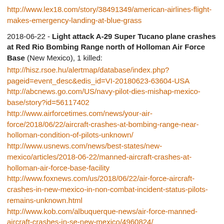http://www.lex18.com/story/38491349/american-airlines-flight-makes-emergency-landing-at-blue-grass
2018-06-22 - Light attack A-29 Super Tucano plane crashes at Red Rio Bombing Range north of Holloman Air Force Base (New Mexico), 1 killed: http://hisz.rsoe.hu/alertmap/database/index.php?pageid=event_desc&edis_id=VI-20180623-63604-USA http://abcnews.go.com/US/navy-pilot-dies-mishap-mexico-base/story?id=56117402 http://www.airforcetimes.com/news/your-air-force/2018/06/22/aircraft-crashes-at-bombing-range-near-holloman-condition-of-pilots-unknown/ http://www.usnews.com/news/best-states/new-mexico/articles/2018-06-22/manned-aircraft-crashes-at-holloman-air-force-base-facility http://www.foxnews.com/us/2018/06/22/air-force-aircraft-crashes-in-new-mexico-in-non-combat-incident-status-pilots-remains-unknown.html http://www.kob.com/albuquerque-news/air-force-manned-aircraft-crashes-in-se-new-mexico/4960824/ http://www.military.com/daily-news/2018/06/22/aircraft-